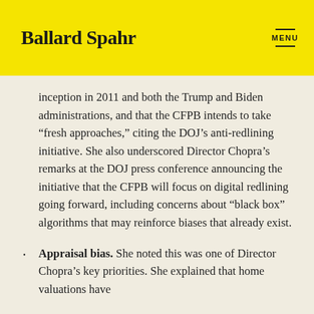Ballard Spahr   MENU
inception in 2011 and both the Trump and Biden administrations, and that the CFPB intends to take “fresh approaches,” citing the DOJ’s anti-redlining initiative. She also underscored Director Chopra’s remarks at the DOJ press conference announcing the initiative that the CFPB will focus on digital redlining going forward, including concerns about “black box” algorithms that may reinforce biases that already exist.
Appraisal bias. She noted this was one of Director Chopra’s key priorities. She explained that home valuations have